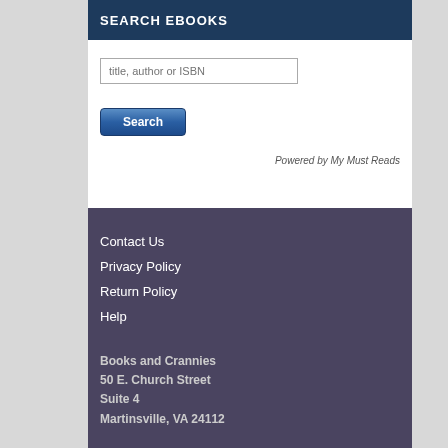SEARCH EBOOKS
[Figure (screenshot): Search input field with placeholder text 'title, author or ISBN']
[Figure (screenshot): Search button with label 'Search']
Powered by My Must Reads
Contact Us
Privacy Policy
Return Policy
Help
Books and Crannies
50 E. Church Street
Suite 4
Martinsville, VA 24112